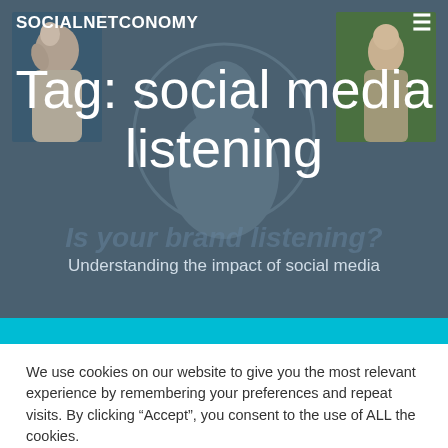SOCIALNETCONOMY
Tag: social media listening
Is your brand listening?
Understanding the impact of social media
We use cookies on our website to give you the most relevant experience by remembering your preferences and repeat visits. By clicking “Accept”, you consent to the use of ALL the cookies.
Cookie settings
ACCEPT